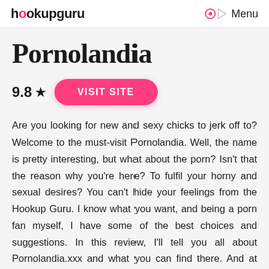hookupguru   Menu
Pornolandia
9.8 ★   VISIT SITE
Are you looking for new and sexy chicks to jerk off to? Welcome to the must-visit Pornolandia. Well, the name is pretty interesting, but what about the porn? Isn't that the reason why you're here? To fulfil your horny and sexual desires? You can't hide your feelings from the Hookup Guru. I know what you want, and being a porn fan myself, I have some of the best choices and suggestions. In this review, I'll tell you all about Pornolandia.xxx and what you can find there. And at the end of this, you'll decide to spend your day fapping there. So let's get directly to it.